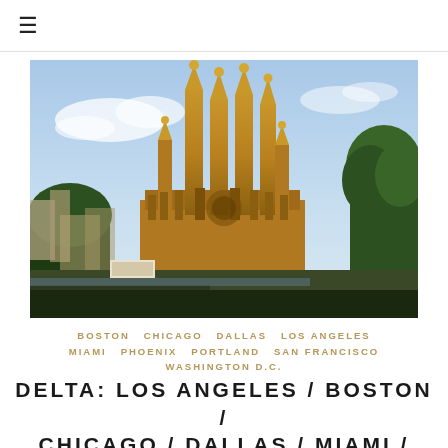≡
[Figure (photo): Photo of the Sagrada Família basilica in Barcelona, Spain, showing its ornate Gothic spires against a partly cloudy blue sky, with trees in the foreground and surrounding urban buildings.]
BOSTON   CHICAGO   DALLAS   LOS ANGELES   MIAMI   PHOENIX   PORTLAND   SAN FRANCISCO   WASHINGTON D.C.
DELTA: LOS ANGELES / BOSTON / CHICAGO / DALLAS / MIAMI / PHOENIX / PORTLAND / SAN FRANCISCO /